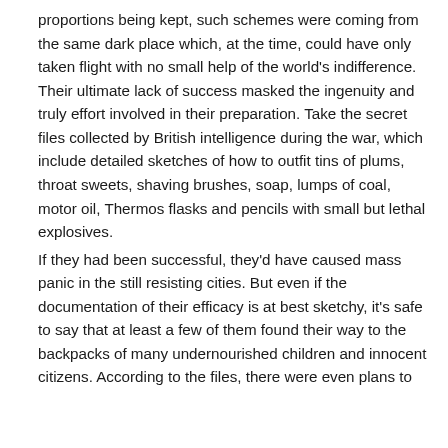proportions being kept, such schemes were coming from the same dark place which, at the time, could have only taken flight with no small help of the world's indifference. Their ultimate lack of success masked the ingenuity and truly effort involved in their preparation. Take the secret files collected by British intelligence during the war, which include detailed sketches of how to outfit tins of plums, throat sweets, shaving brushes, soap, lumps of coal, motor oil, Thermos flasks and pencils with small but lethal explosives. If they had been successful, they'd have caused mass panic in the still resisting cities. But even if the documentation of their efficacy is at best sketchy, it's safe to say that at least a few of them found their way to the backpacks of many undernourished children and innocent citizens. According to the files, there were even plans to